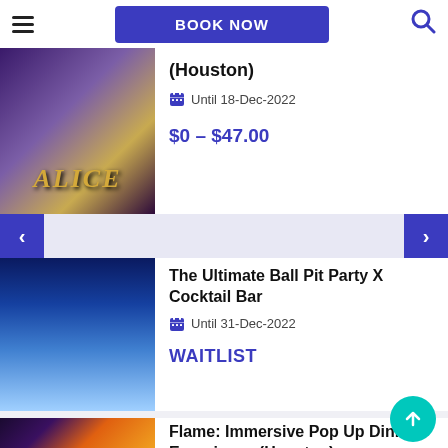BOOK NOW
(Houston)
Until 18-Dec-2022
$0 - $47.00
[Figure (photo): Alice in Wonderland themed restaurant with large ALICE letters]
The Ultimate Ball Pit Party X Cocktail Bar
Until 31-Dec-2022
WAITLIST
[Figure (photo): Person in ball pit with blue glowing lights]
Flame: Immersive Pop Up Dining Experience (Houston)
Until 31-Jan-2023
[Figure (photo): Flame dining experience with colorful light trails]